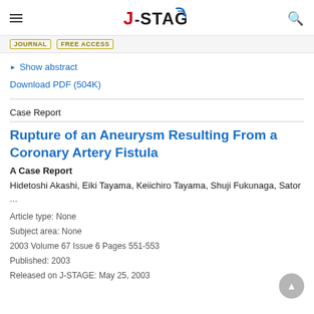J-STAGE
JOURNAL  FREE ACCESS
Show abstract
Download PDF (504K)
Case Report
Rupture of an Aneurysm Resulting From a Coronary Artery Fistula
A Case Report
Hidetoshi Akashi, Eiki Tayama, Keiichiro Tayama, Shuji Fukunaga, Sator
...
Article type: None
Subject area: None
2003 Volume 67 Issue 6 Pages 551-553
Published: 2003
Released on J-STAGE: May 25, 2003